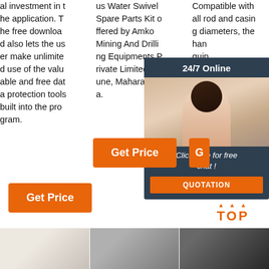al investment in the application. The free download also lets the user make unlimited use of the valuable and free data protection tools built into the program.
us Water Swivel Spare Parts Kit offered by Amko Mining And Drilling Equipments Private Limited, Pune, Maharashtra.
Compatible with all rod and casing diameters, the han... quip... bide... ...
[Figure (photo): Customer service representative woman with headset, 24/7 Online chat widget with orange QUOTATION button]
Get Price
Get Price
G
[Figure (other): TOP button with orange dots forming an upward arrow above the text TOP]
[Figure (photo): Bottom row of three thumbnail images: a light-colored product, dark metallic parts, and dark tools]
Click here for free chat !
QUOTATION